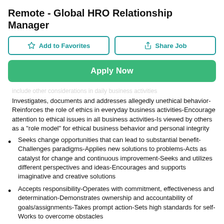Remote - Global HRO Relationship Manager
Add to Favorites | Share Job | Apply Now
include other considerations in daily business activities Investigates, documents and addresses allegedly unethical behavior-Reinforces the role of ethics in everyday business activities-Encourage attention to ethical issues in all business activities-Is viewed by others as a "role model" for ethical business behavior and personal integrity
Seeks change opportunities that can lead to substantial benefit-Challenges paradigms-Applies new solutions to problems-Acts as catalyst for change and continuous improvement-Seeks and utilizes different perspectives and ideas-Encourages and supports imaginative and creative solutions
Accepts responsibility-Operates with commitment, effectiveness and determination-Demonstrates ownership and accountability of goals/assignments-Takes prompt action-Sets high standards for self-Works to overcome obstacles